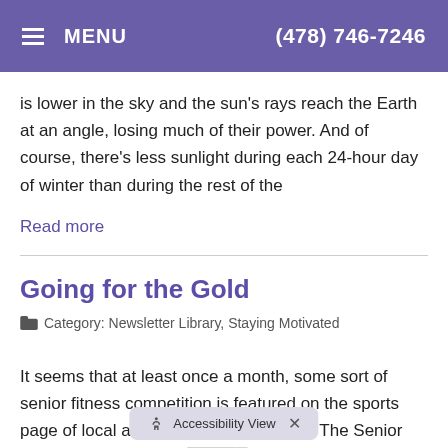MENU  (478) 746-7246
is lower in the sky and the sun's rays reach the Earth at an angle, losing much of their power. And of course, there's less sunlight during each 24-hour day of winter than during the rest of the
Read more
Going for the Gold
Category: Newsletter Library, Staying Motivated
It seems that at least once a month, some sort of senior fitness competition is featured on the sports page of local and national newspapers. The Senior Olympics was the fore... of
Accessibility View